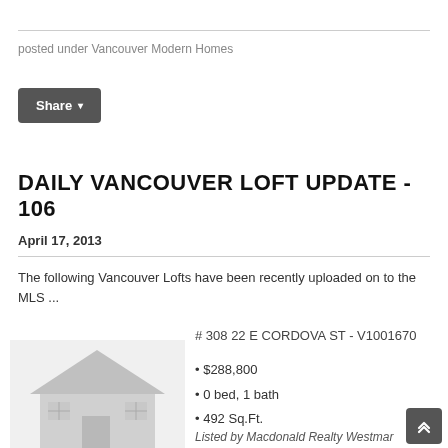posted under Vancouver Modern Homes
Share ▾
DAILY VANCOUVER LOFT UPDATE - 106
April 17, 2013
The following Vancouver Lofts have been recently uploaded on to the MLS ...
# 308 22 E CORDOVA ST - V1001670
$288,800
0 bed, 1 bath
492 Sq.Ft.
Listed by Macdonald Realty Westmar